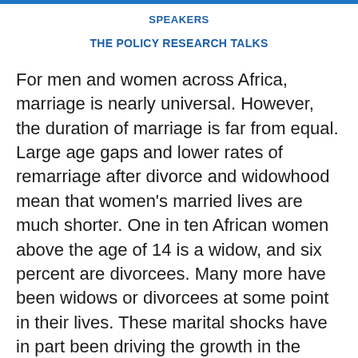SPEAKERS
THE POLICY RESEARCH TALKS
For men and women across Africa, marriage is nearly universal. However, the duration of marriage is far from equal. Large age gaps and lower rates of remarriage after divorce and widowhood mean that women's married lives are much shorter. One in ten African women above the age of 14 is a widow, and six percent are divorcees. Many more have been widows or divorcees at some point in their lives. These marital shocks have in part been driving the growth in the share of female-headed households across the continent.